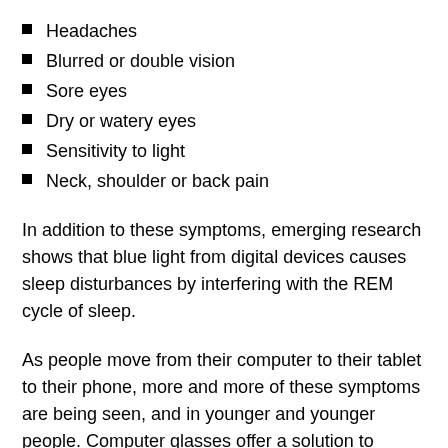Headaches
Blurred or double vision
Sore eyes
Dry or watery eyes
Sensitivity to light
Neck, shoulder or back pain
In addition to these symptoms, emerging research shows that blue light from digital devices causes sleep disturbances by interfering with the REM cycle of sleep.
As people move from their computer to their tablet to their phone, more and more of these symptoms are being seen, and in younger and younger people. Computer glasses offer a solution to reduce the strain